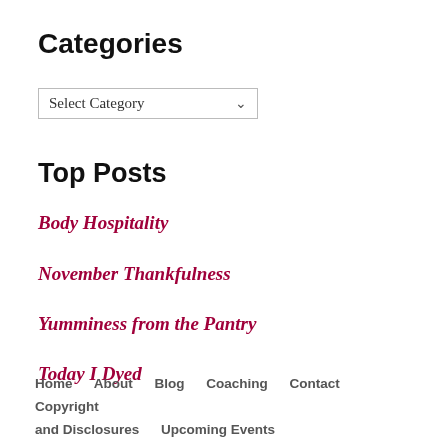Categories
[Figure (screenshot): A dropdown widget labeled 'Select Category' with a downward arrow]
Top Posts
Body Hospitality
November Thankfulness
Yumminess from the Pantry
Today I Dyed
2015 Goals - Mid-year reveiw
Home   About   Blog   Coaching   Contact   Copyright and Disclosures   Upcoming Events